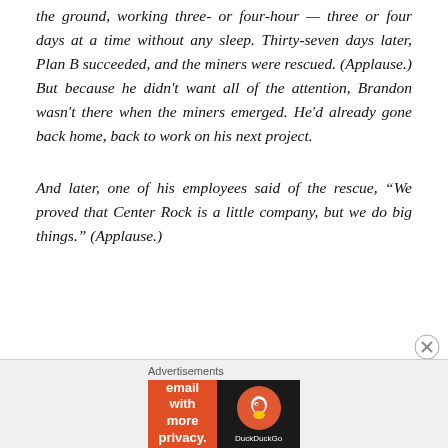the ground, working three- or four-hour — three or four days at a time without any sleep. Thirty-seven days later, Plan B succeeded, and the miners were rescued. (Applause.) But because he didn't want all of the attention, Brandon wasn't there when the miners emerged. He'd already gone back home, back to work on his next project.
And later, one of his employees said of the rescue, “We proved that Center Rock is a little company, but we do big things.” (Applause.)
[Figure (other): DuckDuckGo advertisement banner with orange left panel reading 'Search, browse, and email with more privacy. All in One Free App' and dark right panel with DuckDuckGo logo]